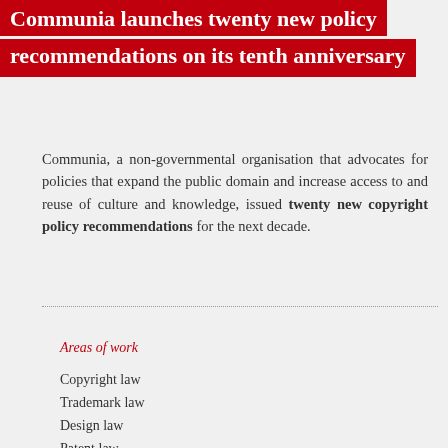Communia launches twenty new policy recommendations on its tenth anniversary
Communia, a non-governmental organisation that advocates for policies that expand the public domain and increase access to and reuse of culture and knowledge, issued twenty new copyright policy recommendations for the next decade.
Areas of work
Copyright law
Trademark law
Design law
Patent law
Domain name
Internet
Personal data protection